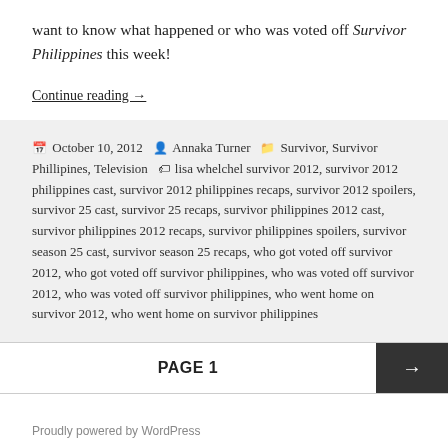want to know what happened or who was voted off Survivor Philippines this week!
Continue reading →
October 10, 2012 · Annaka Turner · Survivor, Survivor Phillipines, Television · lisa whelchel survivor 2012, survivor 2012 philippines cast, survivor 2012 philippines recaps, survivor 2012 spoilers, survivor 25 cast, survivor 25 recaps, survivor philippines 2012 cast, survivor philippines 2012 recaps, survivor philippines spoilers, survivor season 25 cast, survivor season 25 recaps, who got voted off survivor 2012, who got voted off survivor philippines, who was voted off survivor 2012, who was voted off survivor philippines, who went home on survivor 2012, who went home on survivor philippines
PAGE 1
Proudly powered by WordPress